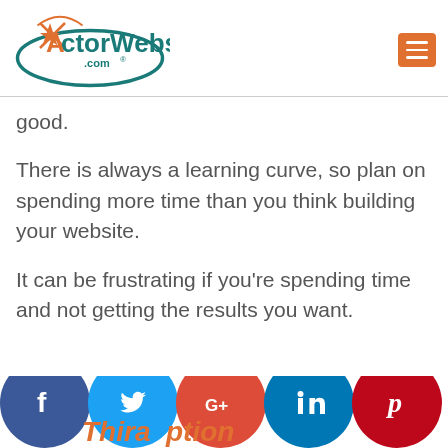[Figure (logo): ActorWebs.com logo with orange scissor/star graphic and teal oval text, and an orange hamburger menu button on the right]
good.
There is always a learning curve, so plan on spending more time than you think building your website.
It can be frustrating if you're spending time and not getting the results you want.
[Figure (infographic): Social media icon bar at bottom: Facebook (blue), Twitter (light blue), Google+ (red), LinkedIn (dark blue), Pinterest (dark red) circular icons, partially visible. Below text reads 'Thira ption' in italic orange bold.]